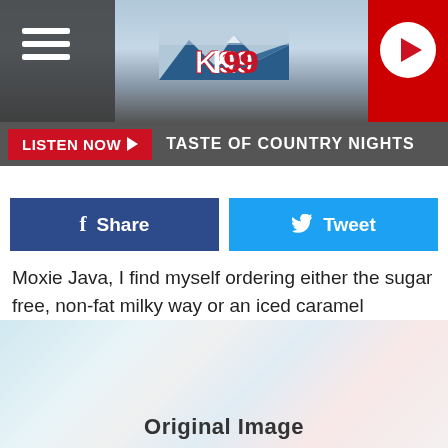[Figure (logo): K99 radio station logo with blue mountain graphic and red/white text on a scenic background with hamburger menu and play button]
LISTEN NOW ▶  TASTE OF COUNTRY NIGHTS
Share
Tweet
Moxie Java, I find myself ordering either the sugar free, non-fat milky way or an iced caramel machiato with soy. Next time you stop by look to the first bench booth nearest the door against the way and smile, that's where James and I had our first coffee together.
[Figure (photo): Abstract light blue and pale image with 'Original Image' text overlay at bottom]